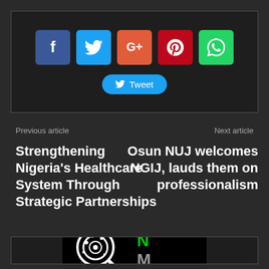[Figure (other): Social media share buttons: Facebook (blue), Twitter (light blue), Google+ (orange-red), Pinterest (red), WhatsApp (green), and a Tweet button below]
Previous article
Strengthening Nigeria's Healthcare System Through Strategic Partnerships
Next article
Osun NUJ welcomes NGIJ, lauds them on professionalism
[Figure (logo): NMM logo with magnifying glass icon - 'First and Relia' (text cut off)]